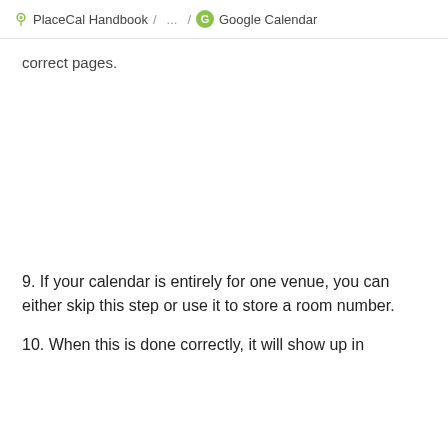PlaceCal Handbook / ... / Google Calendar
correct pages.
9. If your calendar is entirely for one venue, you can either skip this step or use it to store a room number.
10. When this is done correctly, it will show up in